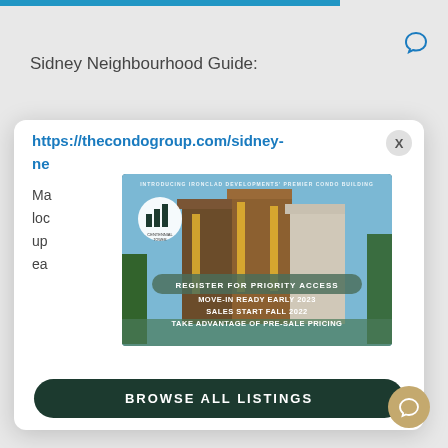Sidney Neighbourhood Guide:
https://thecondogroup.com/sidney-ne
[Figure (screenshot): Advertisement for Centennial Tower condo building showing a modern multi-story building with text: INTRODUCING IRONCLAD DEVELOPMENTS PREMIER CONDO BUILDING, REGISTER FOR PRIORITY ACCESS, MOVE-IN READY EARLY 2023, SALES START FALL 2022, TAKE ADVANTAGE OF PRE-SALE PRICING]
Ma
loc
up
ea
BROWSE ALL LISTINGS